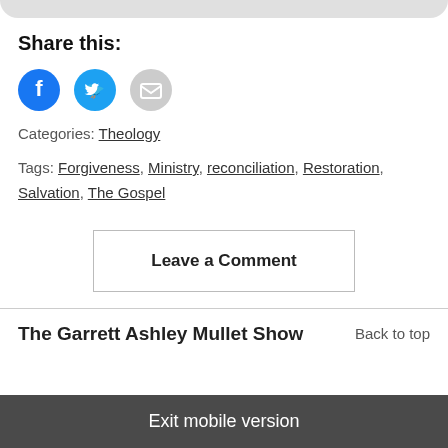[Figure (other): Partial circular image visible at top of page]
Share this:
[Figure (other): Social sharing buttons: Facebook (blue circle), Twitter (light blue circle), Email (gray circle)]
Categories: Theology
Tags: Forgiveness, Ministry, reconciliation, Restoration, Salvation, The Gospel
Leave a Comment
The Garrett Ashley Mullet Show
Back to top
Exit mobile version